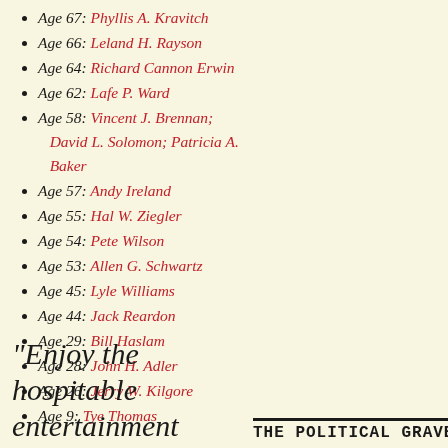Age 67: Phyllis A. Kravitch
Age 66: Leland H. Rayson
Age 64: Richard Cannon Erwin
Age 62: Lafe P. Ward
Age 58: Vincent J. Brennan; David L. Solomon; Patricia A. Baker
Age 57: Andy Ireland
Age 55: Hal W. Ziegler
Age 54: Pete Wilson
Age 53: Allen G. Schwartz
Age 45: Lyle Williams
Age 44: Jack Reardon
Age 29: Bill Haslam
Age 28: John H. Adler
Age 26: Jerry W. Kilgore
Age 9: Tye Thomas
"Enjoy the hospitable entertainment
THE POLITICAL GRAVE...